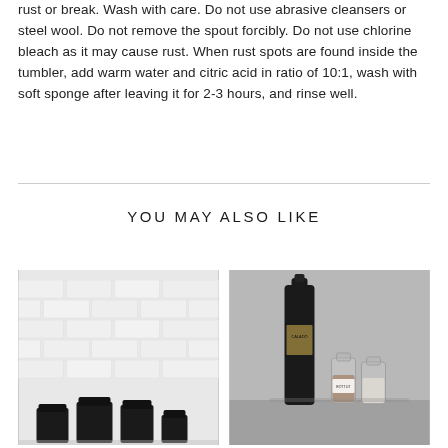rust or break. Wash with care. Do not use abrasive cleansers or steel wool. Do not remove the spout forcibly. Do not use chlorine bleach as it may cause rust. When rust spots are found inside the tumbler, add warm water and citric acid in ratio of 10:1, wash with soft sponge after leaving it for 2-3 hours, and rinse well.
YOU MAY ALSO LIKE
[Figure (photo): Black canisters/jars arranged in front of a white brick wall]
[Figure (photo): A dark wine/spirit bottle labeled CALADO next to small glass milk bottles labeled BOTTLIT on a grey surface]